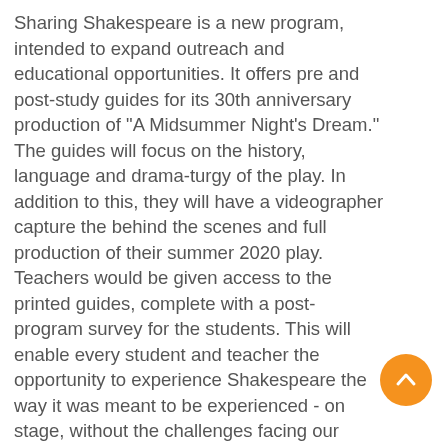Sharing Shakespeare is a new program, intended to expand outreach and educational opportunities. It offers pre and post-study guides for its 30th anniversary production of "A Midsummer Night's Dream." The guides will focus on the history, language and drama-turgy of the play. In addition to this, they will have a videographer capture the behind the scenes and full production of their summer 2020 play. Teachers would be given access to the printed guides, complete with a post-program survey for the students. This will enable every student and teacher the opportunity to experience Shakespeare the way it was meant to be experienced - on stage, without the challenges facing our most underserved communities. The Festival is donation-based with a Pay what you 'Will' wishing well on-site for those to give as they are able. This ensures that every socioeconomic level can attend an evening with friends and family...
[Figure (other): Orange circular scroll-to-top button with upward chevron arrow]